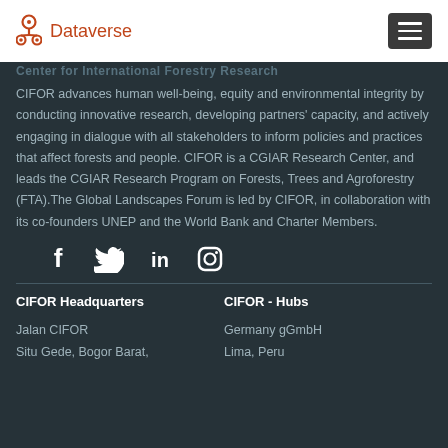Dataverse
CIFOR advances human well-being, equity and environmental integrity by conducting innovative research, developing partners' capacity, and actively engaging in dialogue with all stakeholders to inform policies and practices that affect forests and people. CIFOR is a CGIAR Research Center, and leads the CGIAR Research Program on Forests, Trees and Agroforestry (FTA).The Global Landscapes Forum is led by CIFOR, in collaboration with its co-founders UNEP and the World Bank and Charter Members.
[Figure (infographic): Social media icons: Facebook, Twitter, LinkedIn, Instagram]
CIFOR Headquarters
CIFOR - Hubs
Jalan CIFOR
Situ Gede, Bogor Barat,
Germany gGmbH
Lima, Peru